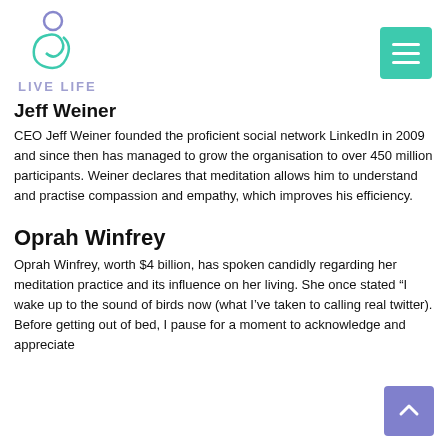LIVE LIFE
Jeff Weiner
CEO Jeff Weiner founded the proficient social network LinkedIn in 2009 and since then has managed to grow the organisation to over 450 million participants. Weiner declares that meditation allows him to understand and practise compassion and empathy, which improves his efficiency.
Oprah Winfrey
Oprah Winfrey, worth $4 billion, has spoken candidly regarding her meditation practice and its influence on her living. She once stated “I wake up to the sound of birds now (what I’ve taken to calling real twitter). Before getting out of bed, I pause for a moment to acknowledge and appreciate